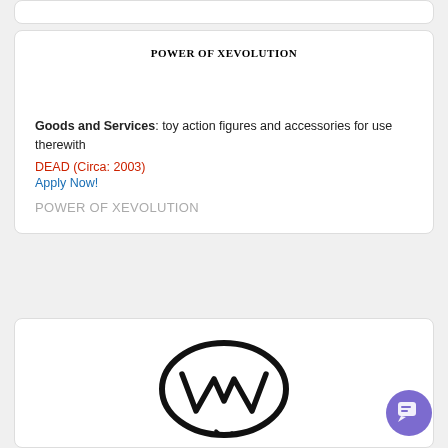POWER OF XEVOLUTION
Goods and Services: toy action figures and accessories for use therewith
DEAD (Circa: 2003)
Apply Now!
POWER OF XEVOLUTION
[Figure (logo): Hand-drawn logo featuring stylized letter shapes inside an oval/brush stroke circle, rendered in black ink]